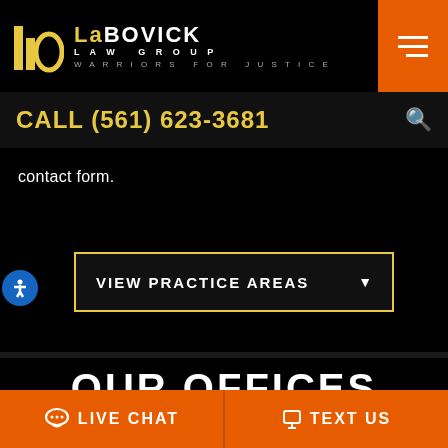[Figure (logo): LaBovick Law Group logo with yellow icon, white text 'LABOVICK LAW GROUP', tagline 'WARRIORS FOR JUSTICE']
CALL (561) 623-3681
contact form.
VIEW PRACTICE AREAS
OUR OFFICES
LIVE CHAT
TEXT US